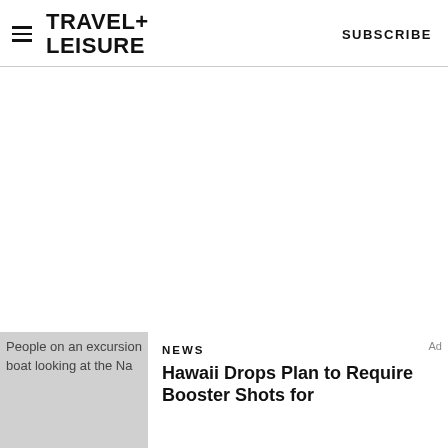TRAVEL+ LEISURE   SUBSCRIBE
[Figure (other): Advertisement/blank white space area]
[Figure (photo): People on an excursion boat looking at the Na]
NEWS
Hawaii Drops Plan to Require Booster Shots for